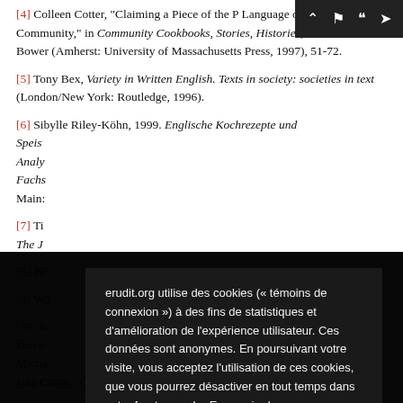[4] Colleen Cotter, "Claiming a Piece of the Pie; How the Language of Recipes Defines Community," in Recipes for Reading: Community Cookbooks, Stories, Histories, ed. Anne L. Bower (Amherst: University of Massachusetts Press, 1997), 51-72.
[5] Tony Bex, Variety in Written English. Texts in society: societies in text (London/New York: Routledge, 1996).
[6] Sibylle Riley-Köhn, 1999. Englische Kochrezepte und Speise... Analy... Fachs... Main:
[7] Tim... The Jo...
[8] Be...
[9] Wh...
[10] R... Disco... Micha... 160/1...
[Figure (screenshot): Cookie consent modal overlay from erudit.org with text in French explaining use of cookies for statistics and user experience improvement, with a red 'J'ai compris' button]
[11] Cotter, "Claiming a Piece of the Pie," 54.